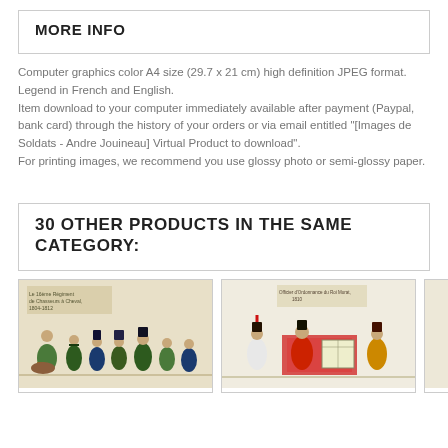MORE INFO
Computer graphics color A4 size (29.7 x 21 cm) high definition JPEG format.
Legend in French and English.
Item download to your computer immediately available after payment (Paypal, bank card) through the history of your orders or via email entitled "[Images de Soldats - Andre Jouineau] Virtual Product to download".
For printing images, we recommend you use glossy photo or semi-glossy paper.
30 OTHER PRODUCTS IN THE SAME CATEGORY:
[Figure (illustration): Product image showing Napoleonic soldiers illustration - Le 16eme Regiment de Chasseurs a Cheval, 1804-1812]
[Figure (illustration): Product image showing Napoleonic soldiers illustration - Officier d'Ordonnance du Roi Murat, 1810]
[Figure (illustration): Partially visible third product card]